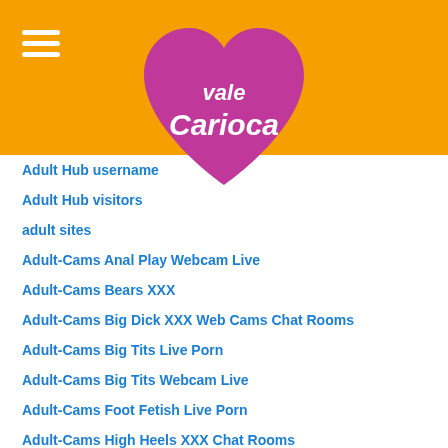[Figure (logo): Vale Carioca logo — pink heart shape with white cursive text 'Vale Carioca' on an orange background header]
Adult Hub username
Adult Hub visitors
adult sites
Adult-Cams Anal Play Webcam Live
Adult-Cams Bears XXX
Adult-Cams Big Dick XXX Web Cams Chat Rooms
Adult-Cams Big Tits Live Porn
Adult-Cams Big Tits Webcam Live
Adult-Cams Foot Fetish Live Porn
Adult-Cams High Heels XXX Chat Rooms
Adult-Cams Latina Webcam Live
Adult-Cams Petite Body Live Porn
Adult-Cams Pornstars Live Porn
adult-dating-sites-de kosten